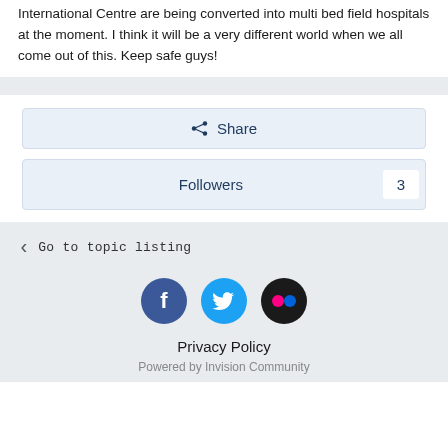but who knows if we will be clear by than or not. Venues like the International Centre are being converted into multi bed field hospitals at the moment. I think it will be a very different world when we all come out of this. Keep safe guys!
[Figure (other): Share button with share icon]
[Figure (other): Followers button showing count of 3]
Go to topic listing
[Figure (other): Social media icons: Facebook, Twitter, Flickr]
Privacy Policy
Powered by Invision Community